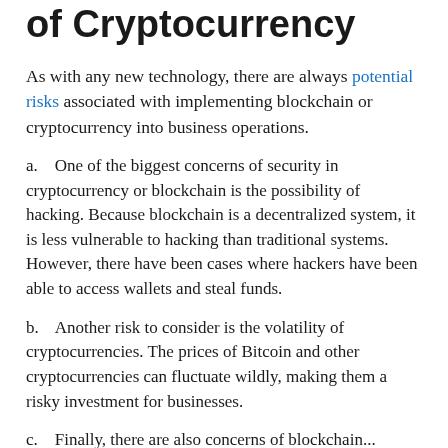of Cryptocurrency
As with any new technology, there are always potential risks associated with implementing blockchain or cryptocurrency into business operations.
a.    One of the biggest concerns of security in cryptocurrency or blockchain is the possibility of hacking. Because blockchain is a decentralized system, it is less vulnerable to hacking than traditional systems. However, there have been cases where hackers have been able to access wallets and steal funds.
b.    Another risk to consider is the volatility of cryptocurrencies. The prices of Bitcoin and other cryptocurrencies can fluctuate wildly, making them a risky investment for businesses.